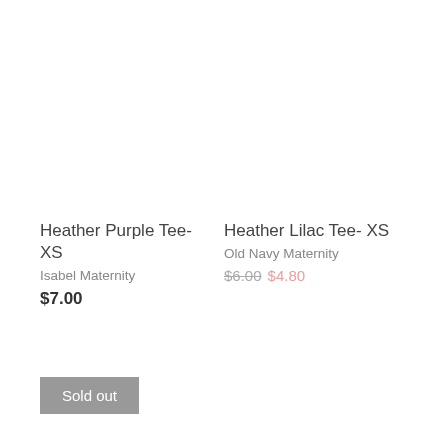Heather Purple Tee- XS
Isabel Maternity
$7.00
Heather Lilac Tee- XS
Old Navy Maternity
$6.00  $4.80
Sold out